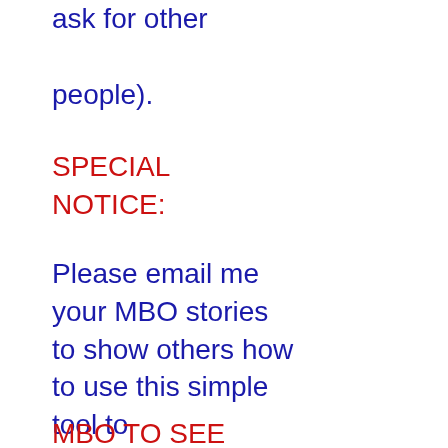Prayers (what you ask for other people).
SPECIAL NOTICE:
Please email me your MBO stories to show others how to use this simple tool to TomTMoore6(at)aol.com. Now for some inspiring stories.
MBO TO SEE